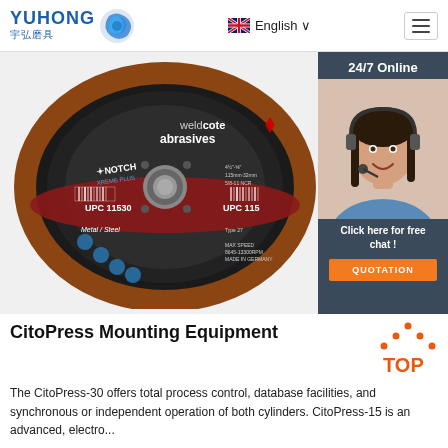YUHONG 宇弘磨具 | English
[Figure (photo): Weldcote Abrasives grinding disc (cutting wheel) branded NOTCH XREME PLUS, UPC 11530, Metal/Steel, Type 27, Made in Germany]
[Figure (photo): Customer service agent woman wearing headset smiling, with 24/7 Online badge, Click here for free chat text, and QUOTATION orange button]
CitoPress Mounting Equipment
The CitoPress-30 offers total process control, database facilities, and synchronous or independent operation of both cylinders. CitoPress-15 is an advanced, electro...